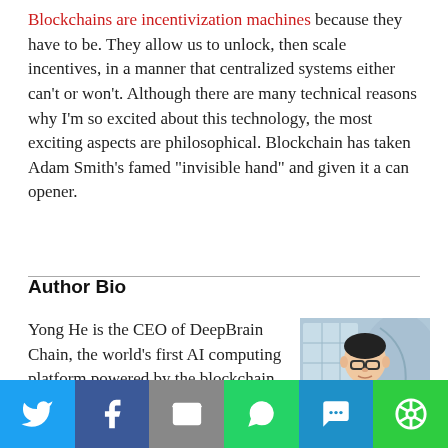Blockchains are incentivization machines because they have to be. They allow us to unlock, then scale incentives, in a manner that centralized systems either can't or won't. Although there are many technical reasons why I'm so excited about this technology, the most exciting aspects are philosophical. Blockchain has taken Adam Smith's famed "invisible hand" and given it a can opener.
Author Bio
Yong He is the CEO of DeepBrain Chain, the world's first AI computing platform powered by the blockchain.
[Figure (photo): Portrait photo of Yong He, CEO of DeepBrain Chain, wearing glasses, in front of a decorative background.]